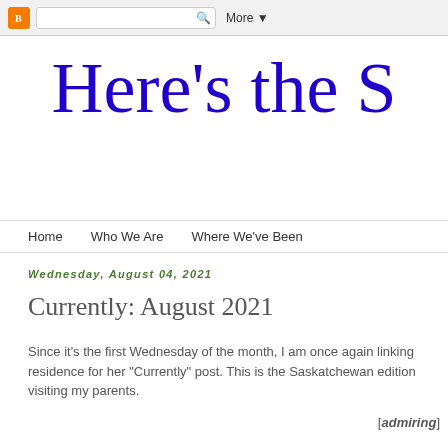Blogger navigation bar with search box and More button
Here's the S
Home   Who We Are   Where We've Been
Wednesday, August 04, 2021
Currently: August 2021
Since it's the first Wednesday of the month, I am once again linking residence for her "Currently" post. This is the Saskatchewan edition visiting my parents.
[admiring]